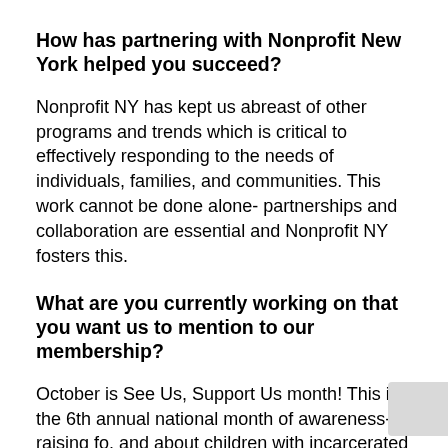How has partnering with Nonprofit New York helped you succeed?
Nonprofit NY has kept us abreast of other programs and trends which is critical to effectively responding to the needs of individuals, families, and communities. This work cannot be done alone- partnerships and collaboration are essential and Nonprofit NY fosters this.
What are you currently working on that you want us to mention to our membership?
October is See Us, Support Us month! This is the 6th annual national month of awareness-raising fo. and about children with incarcerated parents. This